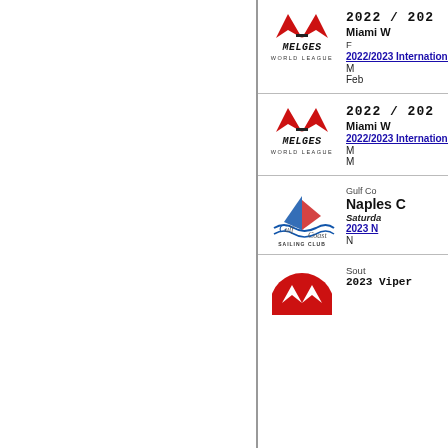[Figure (logo): Melges World League logo with red chevron mark, italicized MELGES text, and WORLD LEAGUE subtitle]
2022 / 2023
Miami W
F
2022/2023 International M
M
Feb
[Figure (logo): Melges World League logo second instance]
2022 / 2023
Miami W
2022/2023 International M
M
M
[Figure (logo): Gulf Coast Sailing Club logo with sailboat graphic and club name]
Gulf Co
Naples C
Saturday
2023 N
N
[Figure (logo): Red circular logo partially visible at bottom]
Sout
2023 Viper